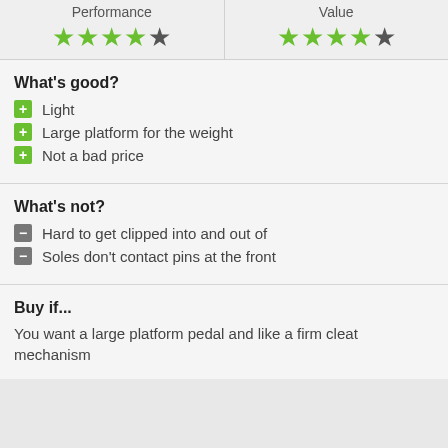[Figure (other): Two-column rating section with star ratings. Performance: 4 out of 5 stars (4 green, 1 dark). Value: 4 out of 5 stars (4 green, 1 dark).]
What's good?
Light
Large platform for the weight
Not a bad price
What's not?
Hard to get clipped into and out of
Soles don't contact pins at the front
Buy if...
You want a large platform pedal and like a firm cleat mechanism